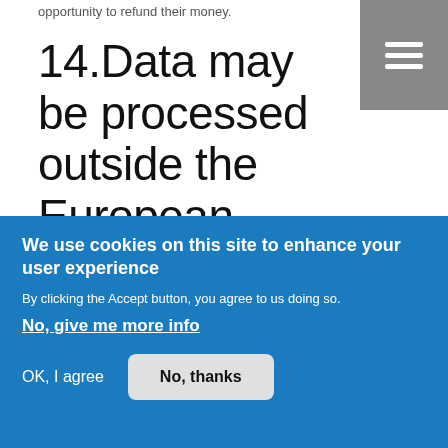opportunity to refund their money.
14.Data may be processed outside the European Union
Our websites are hosted in United Kingdom.
We may also use outsourced services in countries outside the European Union from
We use cookies on this site to enhance your user experience
By clicking the Accept button, you agree to us doing so.
No, give me more info
OK, I agree
No, thanks